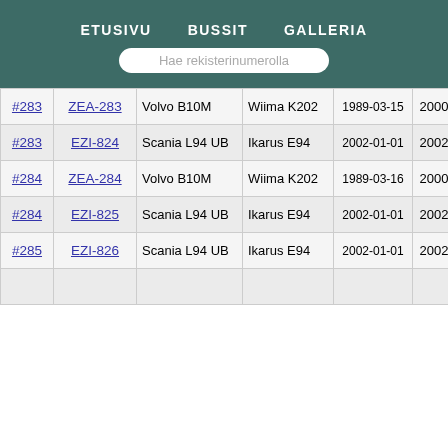ETUSIVU   BUSSIT   GALLERIA
Hae rekisterinumerolla
| # | REG | Model | Body | Date | Yr | Yr |
| --- | --- | --- | --- | --- | --- | --- |
| #283 | ZEA-283 | Volvo B10M | Wiima K202 | 1989-03-15 | 2000 | 2000 |
| #283 | EZI-824 | Scania L94 UB | Ikarus E94 | 2002-01-01 | 2002 | 2009 |
| #284 | ZEA-284 | Volvo B10M | Wiima K202 | 1989-03-16 | 2000 | 2000 |
| #284 | EZI-825 | Scania L94 UB | Ikarus E94 | 2002-01-01 | 2002 | 2009 |
| #285 | EZI-826 | Scania L94 UB | Ikarus E94 | 2002-01-01 | 2002 | 2009 |